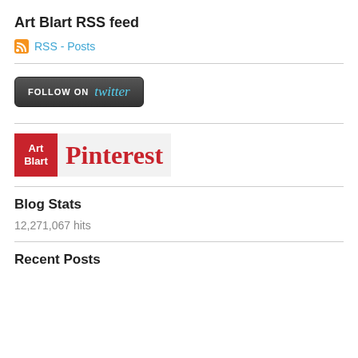Art Blart RSS feed
RSS - Posts
[Figure (logo): Follow on Twitter button with dark background, white FOLLOW ON text, and blue cursive twitter logo]
[Figure (logo): Art Blart Pinterest logo: red square with white Art Blart text, light gray area with red cursive Pinterest logo]
Blog Stats
12,271,067 hits
Recent Posts